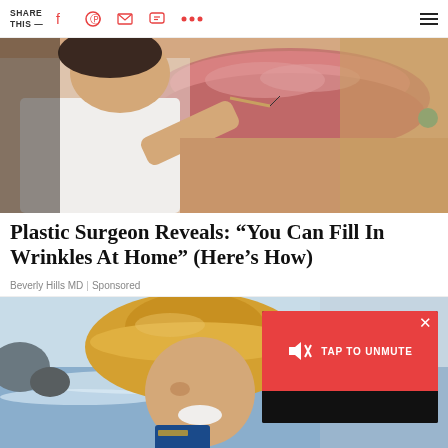SHARE THIS —
[Figure (photo): Close-up photo of a woman's face/lips with a person in white shirt appearing to inject or treat the lip area with a needle]
Plastic Surgeon Reveals: “You Can Fill In Wrinkles At Home” (Here’s How)
Beverly Hills MD | Sponsored
[Figure (photo): Woman smiling wearing a yellow sun hat at the beach, with a video overlay showing a red TAP TO UNMUTE button]